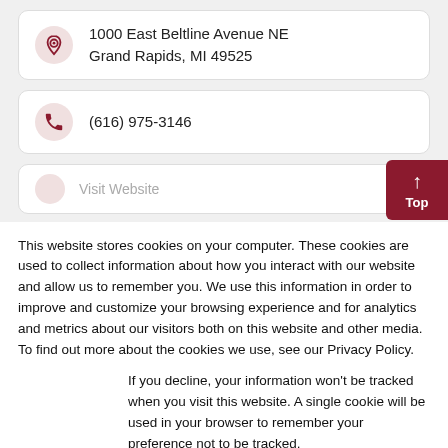1000 East Beltline Avenue NE
Grand Rapids, MI 49525
(616) 975-3146
This website stores cookies on your computer. These cookies are used to collect information about how you interact with our website and allow us to remember you. We use this information in order to improve and customize your browsing experience and for analytics and metrics about our visitors both on this website and other media. To find out more about the cookies we use, see our Privacy Policy.
If you decline, your information won't be tracked when you visit this website. A single cookie will be used in your browser to remember your preference not to be tracked.
Accept
Decline